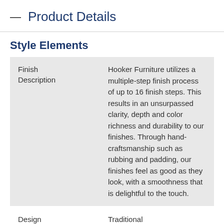— Product Details
Style Elements
| Field | Value |
| --- | --- |
| Finish Description | Hooker Furniture utilizes a multiple-step finish process of up to 16 finish steps. This results in an unsurpassed clarity, depth and color richness and durability to our finishes. Through hand-craftsmanship such as rubbing and padding, our finishes feel as good as they look, with a smoothness that is delightful to the touch. |
| Design Style | Traditional |
| Finish | Medium |